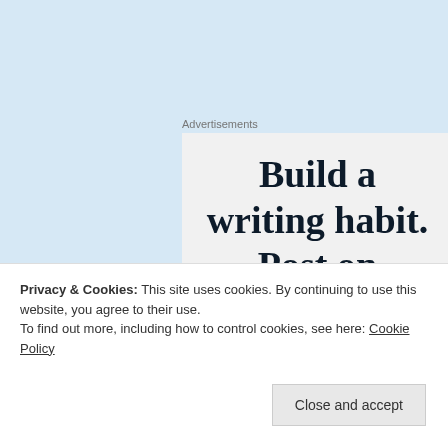Advertisements
[Figure (other): Advertisement box with text 'Build a writing habit. Post on']
A skeptical approach to reality brings us to an informed and skeptical atheism, and allows us to love the people we love, the way we want to love them, in order to live
Privacy & Cookies: This site uses cookies. By continuing to use this website, you agree to their use.
To find out more, including how to control cookies, see here: Cookie Policy
Close and accept